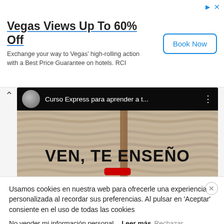[Figure (screenshot): Advertisement banner for RCI Vegas hotel deals with 'Vegas Views Up To 60% Off' title and 'Book Now' button]
[Figure (screenshot): YouTube video thumbnail showing knitting/crochet yarn with text 'VEN, TE ENSEÑO' and channel 'Curso Express para aprender a t...']
Usamos cookies en nuestra web para ofrecerle una experiencia personalizada al recordar sus preferencias. Al pulsar en 'Aceptar' consiente en el uso de todas las cookies
No vender mi información personal. Leer más Rechazar
Aceptar  Configuración de cookies